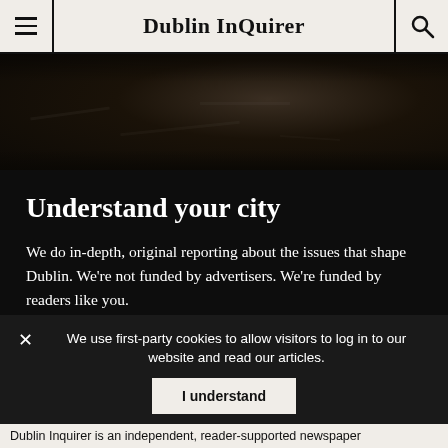Dublin InQuirer
[Figure (photo): Dark aerial or ground-level photo of a road or street surface at night]
Understand your city
We do in-depth, original reporting about the issues that shape Dublin. We're not funded by advertisers. We're funded by readers like you.
Become a subscriber →
We use first-party cookies to allow visitors to log in to our website and read our articles.
I understand
Dublin Inquirer is an independent, reader-supported newspaper